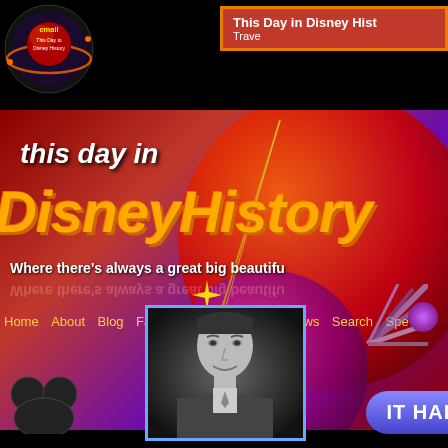[Figure (logo): Email badge circular logo with text 'email This Day in Disney History' on black/red/orange planet graphic]
This Day in Disney Hist... | Trave...
this day in DisneyHistory
Where there's always a great big beautifu...
Home  About  Blog  Facebook  FAQ  Links  News  Search  Spe...
[Figure (photo): Black and white headshot photo of a man in a suit, smiling, displayed in a blue-bordered box]
[Figure (illustration): Mickey Mouse ears silhouette in bottom left corner]
IT HAP